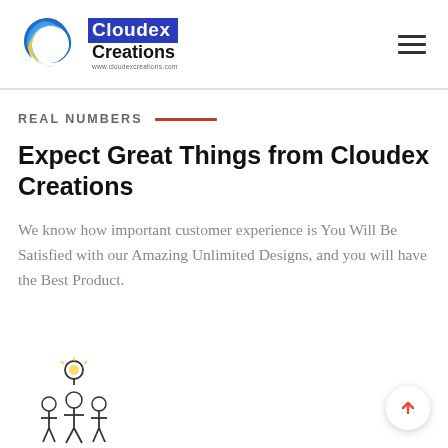[Figure (logo): Cloudex Creations logo with swirling blue and yellow icon and company name on blue background, with website www.cloudexcreations.com]
REAL NUMBERS
Expect Great Things from Cloudex Creations
We know how important customer experience is You Will Be Satisfied with our Amazing Unlimited Designs, and you will have the Best Product.
[Figure (illustration): Cartoon illustration of a group of people with a light bulb above them, representing teamwork and creativity.]